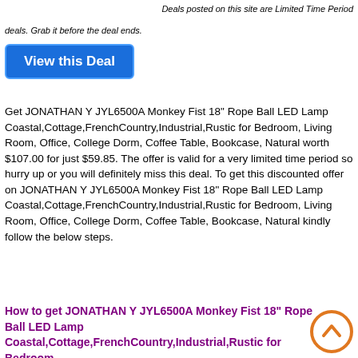Deals posted on this site are Limited Time Period deals. Grab it before the deal ends.
View this Deal
Get JONATHAN Y JYL6500A Monkey Fist 18" Rope Ball LED Lamp Coastal,Cottage,FrenchCountry,Industrial,Rustic for Bedroom, Living Room, Office, College Dorm, Coffee Table, Bookcase, Natural worth $107.00 for just $59.85. The offer is valid for a very limited time period so hurry up or you will definitely miss this deal. To get this discounted offer on JONATHAN Y JYL6500A Monkey Fist 18" Rope Ball LED Lamp Coastal,Cottage,FrenchCountry,Industrial,Rustic for Bedroom, Living Room, Office, College Dorm, Coffee Table, Bookcase, Natural kindly follow the below steps.
How to get JONATHAN Y JYL6500A Monkey Fist 18" Rope Ball LED Lamp Coastal,Cottage,FrenchCountry,Industrial,Rustic for Bedroom,